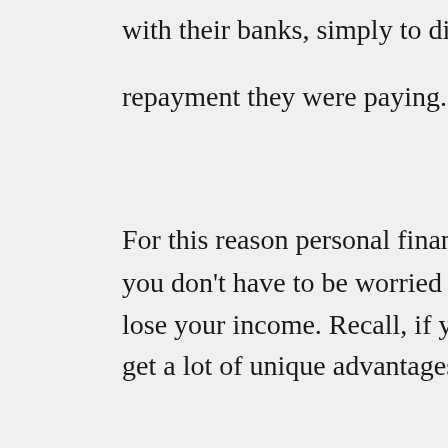with their banks, simply to discover that they can't pleasantly pre- repayment they were paying.
For this reason personal financial management is important, since you don't have to be worried about your financial condition must lose your income. Recall, if you're careful with your personal fina- get a lot of unique advantages for your efforts.
Charge cards are commonly the foundation of peoples debts. Th- they themselves are faulty or unsafe, however, people do not res- means that people end up receiving caught out consequently. Re- money using a credit card which you know you cannot comfortab-
Yet another cardinal error people devote when working with char- neglect to pay them off when they're supposed to both because t-